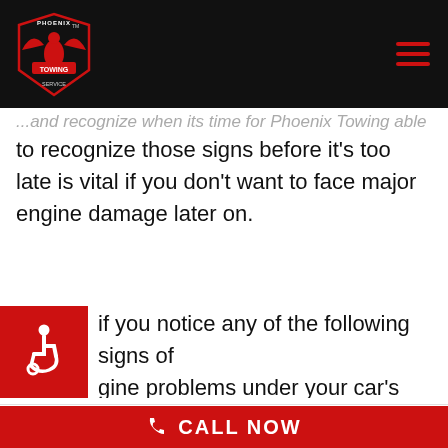Phoenix Towing Service
...to recognize those signs before it's too late is vital if you don't want to face major engine damage later on.
if you notice any of the following signs of engine problems under your car's hood, make sure you take your vehicle to your mechanic so
We use cookies on our website to give you the most relevant experience by remembering your preferences and repeat visits. By clicking “Accept”, you consent to the use of ALL the cookies.
Cookie settings  ACCEPT
CALL NOW